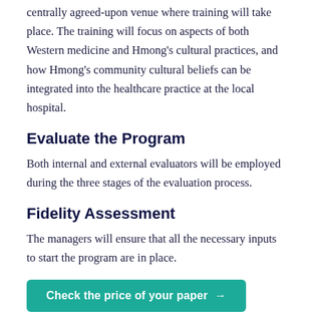centrally agreed-upon venue where training will take place. The training will focus on aspects of both Western medicine and Hmong's cultural practices, and how Hmong's community cultural beliefs can be integrated into the healthcare practice at the local hospital.
Evaluate the Program
Both internal and external evaluators will be employed during the three stages of the evaluation process.
Fidelity Assessment
The managers will ensure that all the necessary inputs to start the program are in place.
[Figure (other): Teal/green CTA button reading 'Check the price of your paper →']